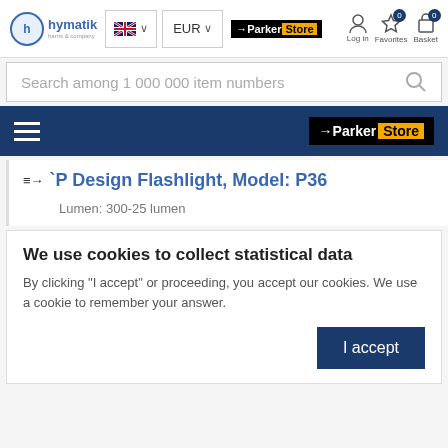[Figure (screenshot): Website header with hymatik logo, language selector (UK flag), EUR currency selector, Parker Store logo, Log in, Favorites (0), and Basket (0) icons]
Search among 1 000 000 item numbers
[Figure (screenshot): Dark navy navigation bar with hamburger menu icon on left and Parker Store logo on right]
P Design Flashlight, Model: P36
Lumen: 300-25 lumen
We use cookies to collect statistical data
By clicking "I accept" or proceeding, you accept our cookies. We use a cookie to remember your answer.